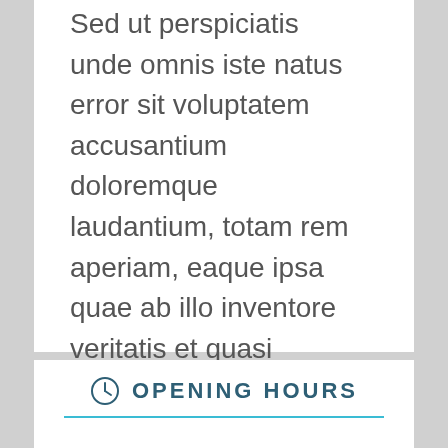Sed ut perspiciatis unde omnis iste natus error sit voluptatem accusantium doloremque laudantium, totam rem aperiam, eaque ipsa quae ab illo inventore veritatis et quasi architecto beatae vitae dicta sunt explicabo. Nemo enim ipsam voluptatem quia voluptas sit aspernatur aut odit aut fugit,
OPENING HOURS